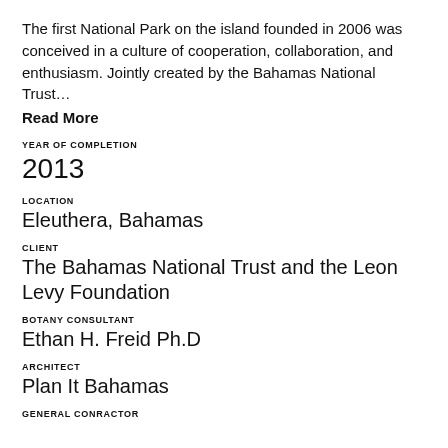The first National Park on the island founded in 2006 was conceived in a culture of cooperation, collaboration, and enthusiasm. Jointly created by the Bahamas National Trust…
Read More
YEAR OF COMPLETION
2013
LOCATION
Eleuthera, Bahamas
CLIENT
The Bahamas National Trust and the Leon Levy Foundation
BOTANY CONSULTANT
Ethan H. Freid Ph.D
ARCHITECT
Plan It Bahamas
GENERAL CONRACTOR